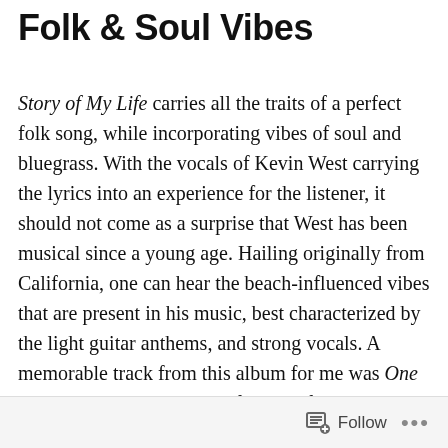Folk & Soul Vibes
Story of My Life carries all the traits of a perfect folk song, while incorporating vibes of soul and bluegrass. With the vocals of Kevin West carrying the lyrics into an experience for the listener, it should not come as a surprise that West has been musical since a young age. Hailing originally from California, one can hear the beach-influenced vibes that are present in his music, best characterized by the light guitar anthems, and strong vocals. A memorable track from this album for me was One Too Many. One will notice first and foremost West’s way of crafting the story into a song and this one with the lyrics “I tried to rub away the cob webs from another late night”, and “I don’t know what time it was when I got to bed, I don’t know”. These lyrics
Follow